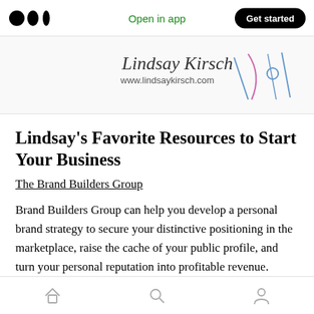Open in app  Get started
[Figure (screenshot): Lindsay Kirsch signature and www.lindsaykirsch.com website banner with decorative line art icons]
Lindsay's Favorite Resources to Start Your Business
The Brand Builders Group
Brand Builders Group can help you develop a personal brand strategy to secure your distinctive positioning in the marketplace, raise the cache of your public profile, and turn your personal reputation into profitable revenue.
Home  Search  Profile